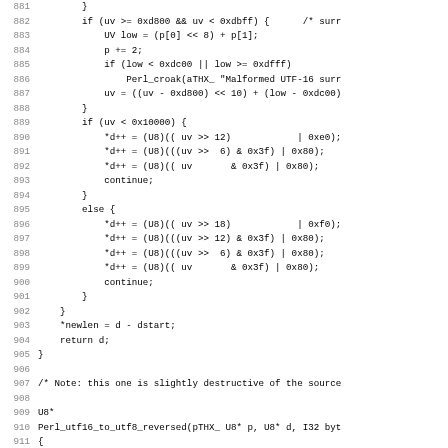[Figure (screenshot): Source code listing in monospace font showing C code for UTF-16 to UTF-8 conversion, lines 881-913. Line numbers in gray on left, code in black on right.]